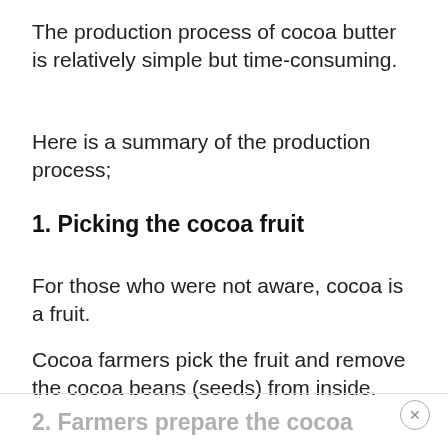The production process of cocoa butter is relatively simple but time-consuming.
Here is a summary of the production process;
1. Picking the cocoa fruit
For those who were not aware, cocoa is a fruit.
Cocoa farmers pick the fruit and remove the cocoa beans (seeds) from inside.
2. Farmers prepare the cocoa